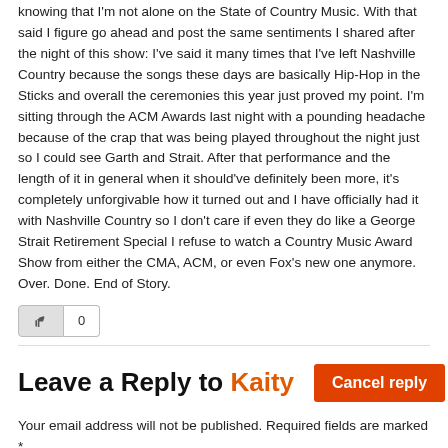knowing that I'm not alone on the State of Country Music. With that said I figure go ahead and post the same sentiments I shared after the night of this show: I've said it many times that I've left Nashville Country because the songs these days are basically Hip-Hop in the Sticks and overall the ceremonies this year just proved my point. I'm sitting through the ACM Awards last night with a pounding headache because of the crap that was being played throughout the night just so I could see Garth and Strait. After that performance and the length of it in general when it should've definitely been more, it's completely unforgivable how it turned out and I have officially had it with Nashville Country so I don't care if even they do like a George Strait Retirement Special I refuse to watch a Country Music Award Show from either the CMA, ACM, or even Fox's new one anymore. Over. Done. End of Story.
[Figure (other): Like/thumbs-up button with count showing 0]
Leave a Reply to Kaity   Cancel reply
Your email address will not be published. Required fields are marked *
Comment